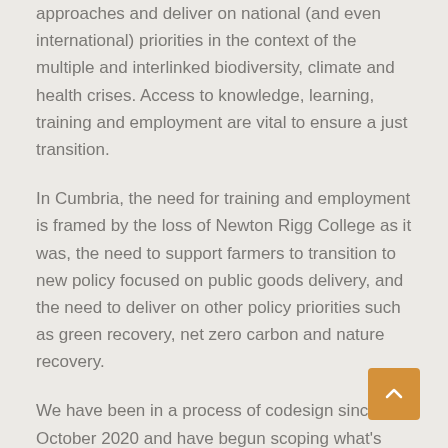approaches and deliver on national (and even international) priorities in the context of the multiple and interlinked biodiversity, climate and health crises. Access to knowledge, learning, training and employment are vital to ensure a just transition.
In Cumbria, the need for training and employment is framed by the loss of Newton Rigg College as it was, the need to support farmers to transition to new policy focused on public goods delivery, and the need to deliver on other policy priorities such as green recovery, net zero carbon and nature recovery.
We have been in a process of codesign since October 2020 and have begun scoping what's needed to deliver land- and nature- based skills training and learning in Cumbria. This has led to